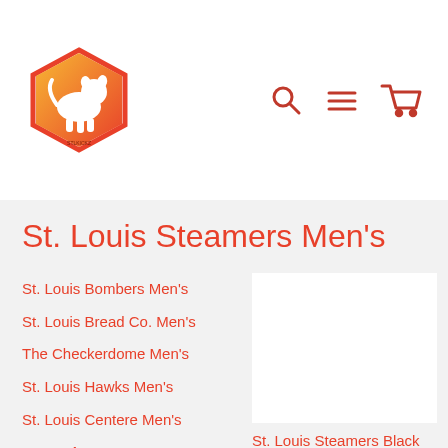[Figure (logo): Hexagonal orange and red logo with a dog/animal figure inside, small text at bottom of hexagon]
[Figure (other): Search icon, hamburger menu icon, and shopping cart icon in red]
St. Louis Steamers Men's
St. Louis Bombers Men's
St. Louis Bread Co. Men's
The Checkerdome Men's
St. Louis Hawks Men's
St. Louis Centere Men's
St. Louis Steamers Men's
[Figure (photo): White/blank product image placeholder]
St. Louis Steamers Black NL3600 Premium Short